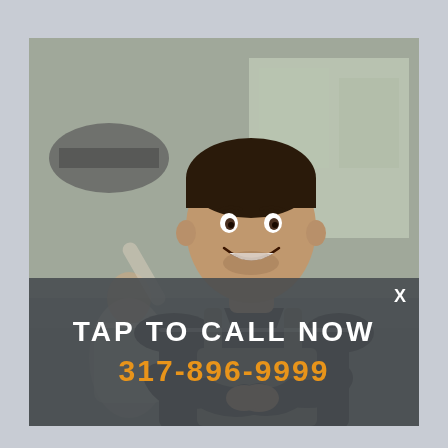[Figure (photo): A smiling male auto mechanic in a dark polo shirt with gray overalls/bib standing with arms crossed in the foreground. In the blurred background, another mechanic is working on a car with its hood open in a garage/service center setting.]
X
TAP TO CALL NOW
317-896-9999